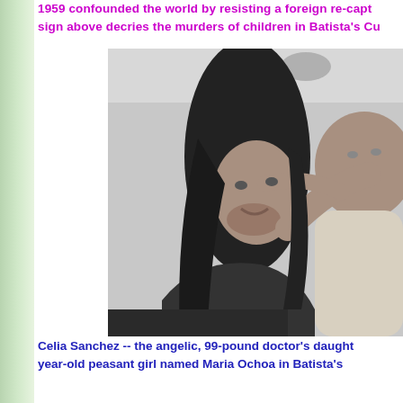1959 confounded the world by resisting a foreign re-capt... sign above decries the murders of children in Batista's Cu...
[Figure (photo): Black and white photograph of a woman (Celia Sanchez) holding and embracing a baby or young child, both faces close together in a tender pose.]
Celia Sanchez -- the angelic, 99-pound doctor's daught... year-old peasant girl named Maria Ochoa in Batista's...